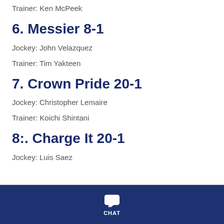Trainer: Ken McPeek
6. Messier 8-1
Jockey: John Velazquez
Trainer: Tim Yakteen
7. Crown Pride 20-1
Jockey: Christopher Lemaire
Trainer: Koichi Shintani
8:. Charge It 20-1
Jockey: Luis Saez
CHAT